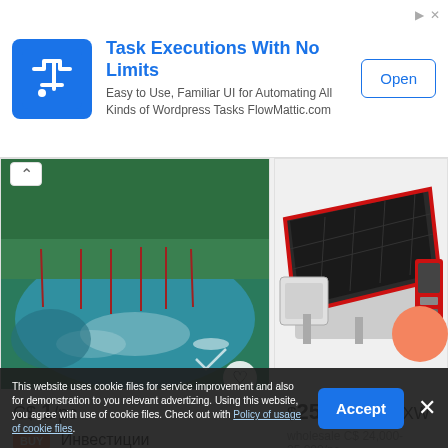[Figure (screenshot): Advertisement banner: Task Executions With No Limits - FlowMattic.com with Open button]
[Figure (photo): Aerial drone view of a lake with boats and green forest]
C$ 1/pc
BUY Инвестиции
IndustrialWay, OOO, BY, 350 km
[Figure (photo): Red and black waterjet glass CNC cutting machine]
$25,000/pc EXW
wholesale C$ 24,000-25,000/pc
Waterjet glass cnc cutting machine
Shandong FAAK Machinery...
This website uses cookie files for service improvement and also for demonstration to you relevant advertizing. Using this website, you agree with use of cookie files. Check out with Policy of usage of cookie files.
Accept